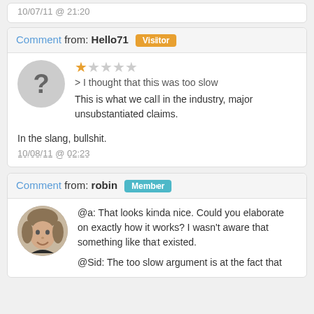10/07/11 @ 21:20
Comment from: Hello71 [Visitor]
[Figure (other): Star rating: 1 out of 5 stars]
> I thought that this was too slow
This is what we call in the industry, major unsubstantiated claims.
In the slang, bullshit.
10/08/11 @ 02:23
Comment from: robin [Member]
@a: That looks kinda nice. Could you elaborate on exactly how it works? I wasn't aware that something like that existed.
@Sid: The too slow argument is at the fact that